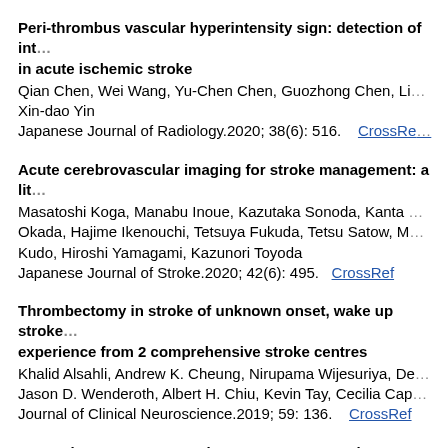Peri-thrombus vascular hyperintensity sign: detection of int... in acute ischemic stroke
Qian Chen, Wei Wang, Yu-Chen Chen, Guozhong Chen, Li... Xin-dao Yin
Japanese Journal of Radiology.2020; 38(6): 516.   CrossRef
Acute cerebrovascular imaging for stroke management: a lit...
Masatoshi Koga, Manabu Inoue, Kazutaka Sonoda, Kanta... Okada, Hajime Ikenouchi, Tetsuya Fukuda, Tetsu Satow, M... Kudo, Hiroshi Yamagami, Kazunori Toyoda
Japanese Journal of Stroke.2020; 42(6): 495.   CrossRef
Thrombectomy in stroke of unknown onset, wake up stroke... experience from 2 comprehensive stroke centres
Khalid Alsahli, Andrew K. Cheung, Nirupama Wijesuriya, De... Jason D. Wenderoth, Albert H. Chiu, Kevin Tay, Cecilia Cap...
Journal of Clinical Neuroscience.2019; 59: 136.   CrossRef
Magnetic Resonance Imaging Versus Computed Tomograph... Endovascular Therapy in Patients With Acute Ischemic Stro...
Joon-Tae Kim, Bang-Hoon Cho, Kang-Ho Choi, Man-Seok... Kwon-il Kong, Sang-Jun Lee, Seok Kim, Jae-Kwon Cha...